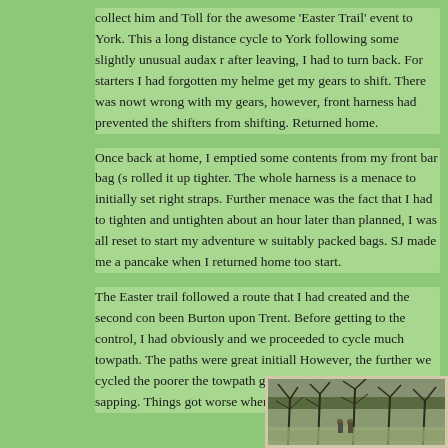collect him and Toll for the awesome 'Easter Trail' event to York. This a long distance cycle to York following some slightly unusual audax r after leaving, I had to turn back. For starters I had forgotten my helme get my gears to shift. There was nowt wrong with my gears, however, front harness had prevented the shifters from shifting. Returned home.
Once back at home, I emptied some contents from my front bar bag (s rolled it up tighter. The whole harness is a menace to initially set right straps. Further menace was the fact that I had to tighten and untighten about an hour later than planned, I was all reset to start my adventure w suitably packed bags. SJ made me a pancake when I returned home too start.
The Easter trail followed a route that I had created and the second con been Burton upon Trent. Before getting to the control, I had obviously and we proceeded to cycle much towpath. The paths were great initiall However, the further we cycled the poorer the towpath got. Decent pa our energy was sapping. Things got worse when I punctured.
[Figure (photo): A photograph showing cyclists or people on a path surrounded by bare winter trees and shrubby vegetation]